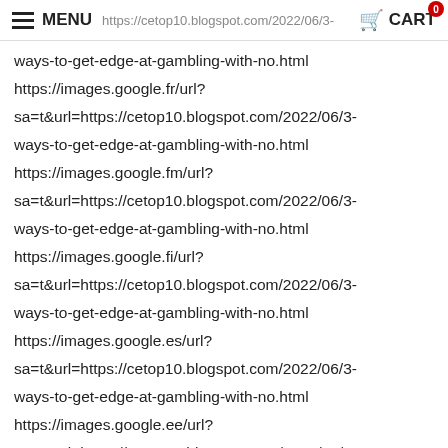MENU  https://cetop10.blogspot.com/2022/06/3-  CART
ways-to-get-edge-at-gambling-with-no.html
https://images.google.fr/url?
sa=t&url=https://cetop10.blogspot.com/2022/06/3-
ways-to-get-edge-at-gambling-with-no.html
https://images.google.fm/url?
sa=t&url=https://cetop10.blogspot.com/2022/06/3-
ways-to-get-edge-at-gambling-with-no.html
https://images.google.fi/url?
sa=t&url=https://cetop10.blogspot.com/2022/06/3-
ways-to-get-edge-at-gambling-with-no.html
https://images.google.es/url?
sa=t&url=https://cetop10.blogspot.com/2022/06/3-
ways-to-get-edge-at-gambling-with-no.html
https://images.google.ee/url?
sa=t&url=https://cetop10.blogspot.com/2022/06/3-
ways-to-get-edge-at-gambling-with-no.html